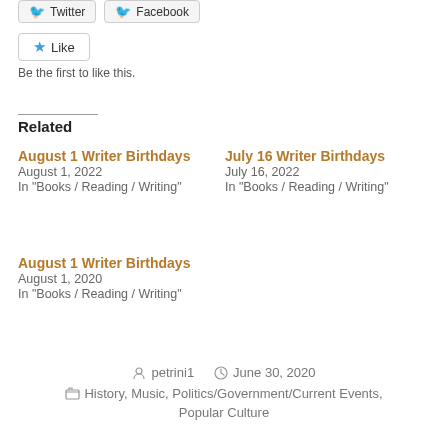[Figure (screenshot): Twitter and Facebook share buttons at top]
[Figure (screenshot): Star Like button]
Be the first to like this.
Related
August 1 Writer Birthdays
August 1, 2022
In "Books / Reading / Writing"
July 16 Writer Birthdays
July 16, 2022
In "Books / Reading / Writing"
August 1 Writer Birthdays
August 1, 2020
In "Books / Reading / Writing"
petrini1   June 30, 2020   History, Music, Politics/Government/Current Events, Popular Culture